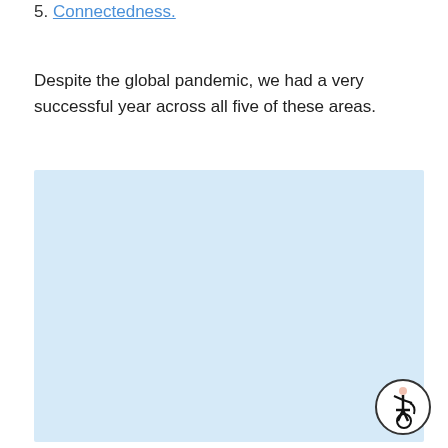5. Connectedness.
Despite the global pandemic, we had a very successful year across all five of these areas.
[Figure (illustration): Light blue placeholder rectangle with an accessibility (wheelchair user) icon in the lower right corner.]